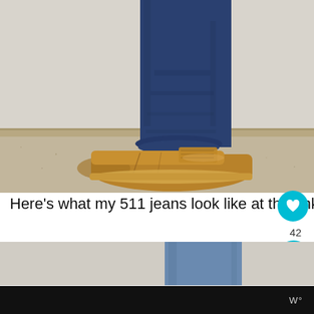[Figure (photo): Close-up photo of a person's leg wearing dark blue skinny jeans (511 style) and a tan/brown leather oxford shoe, standing on beige carpet with a baseboard visible in the background.]
Here's what my 511 jeans look like at the ankle:
[Figure (photo): Partial photo of a person's leg wearing lighter blue jeans, cropped — only the lower portion of the leg visible, cut off by the page edge.]
W°